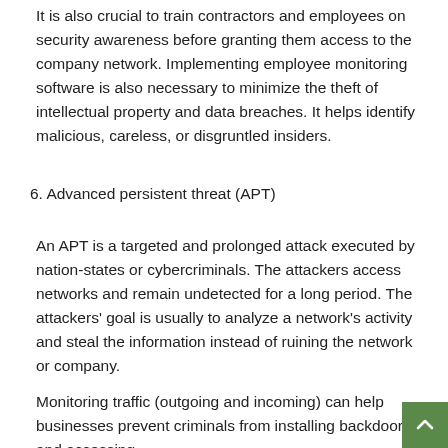It is also crucial to train contractors and employees on security awareness before granting them access to the company network. Implementing employee monitoring software is also necessary to minimize the theft of intellectual property and data breaches. It helps identify malicious, careless, or disgruntled insiders.
6. Advanced persistent threat (APT)
An APT is a targeted and prolonged attack executed by nation-states or cybercriminals. The attackers access networks and remain undetected for a long period. The attackers' goal is usually to analyze a network's activity and steal the information instead of ruining the network or company.
Monitoring traffic (outgoing and incoming) can help businesses prevent criminals from installing backdoors and accessing private data, installing malicious firewalls, and other...